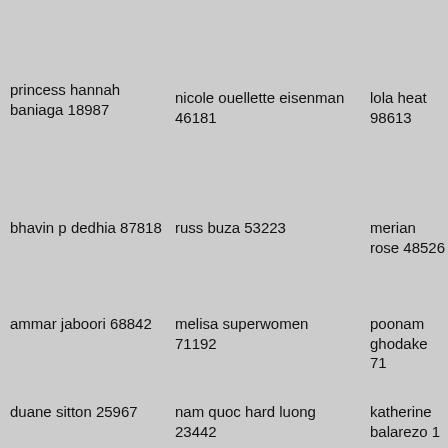princess hannah baniaga 18987
nicole ouellette eisenman 46181
lola heat 98613
bhavin p dedhia 87818
russ buza 53223
merian rose 48526
ammar jaboori 68842
melisa superwomen 71192
poonam ghodake 71
duane sitton 25967
nam quoc hard luong 23442
katherine balarezo 1